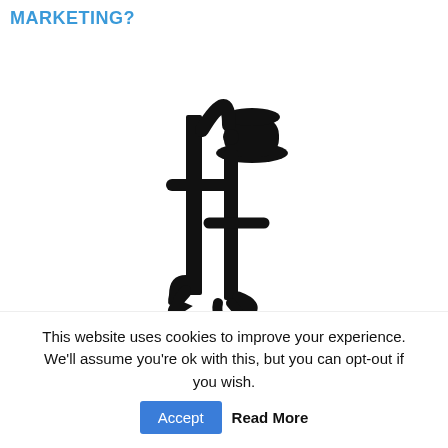MARKETING?
[Figure (logo): Ferminius logo: stylized 'fj' letterform in black with a hat graphic above the letters]
[+] FERMINIUS PROJECTS
[+] FERMINIUS TESTIMONIALS
[+] FERMINIUS VIDEO CONTENT
This website uses cookies to improve your experience. We'll assume you're ok with this, but you can opt-out if you wish.
Accept  Read More